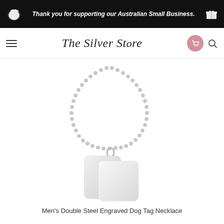Thank you for supporting our Australian Small Business.
[Figure (logo): The Silver Store script logo with hamburger menu, cart icon, and search icon]
[Figure (photo): Men's double steel dog tag necklace with ball chain on white background]
Men's Double Steel Engraved Dog Tag Necklace